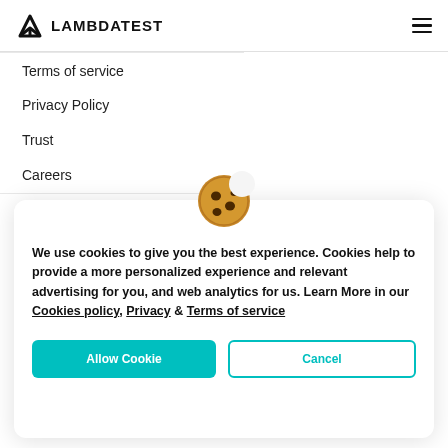LAMBDATEST
Terms of service
Privacy Policy
Trust
Careers
[Figure (illustration): Cookie emoji icon — a chocolate chip cookie with a bite taken out]
We use cookies to give you the best experience. Cookies help to provide a more personalized experience and relevant advertising for you, and web analytics for us. Learn More in our Cookies policy, Privacy & Terms of service
Allow Cookie | Cancel